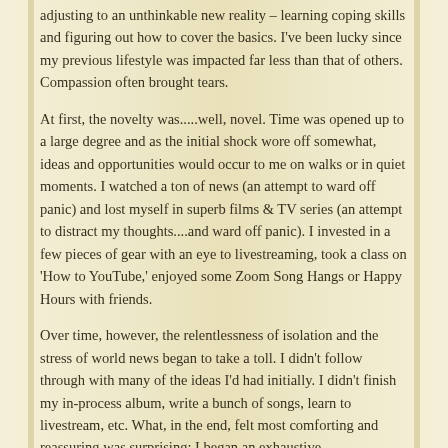adjusting to an unthinkable new reality – learning coping skills and figuring out how to cover the basics. I've been lucky since my previous lifestyle was impacted far less than that of others. Compassion often brought tears.
At first, the novelty was.....well, novel. Time was opened up to a large degree and as the initial shock wore off somewhat, ideas and opportunities would occur to me on walks or in quiet moments. I watched a ton of news (an attempt to ward off panic) and lost myself in superb films & TV series (an attempt to distract my thoughts....and ward off panic). I invested in a few pieces of gear with an eye to livestreaming, took a class on 'How to YouTube,' enjoyed some Zoom Song Hangs or Happy Hours with friends.
Over time, however, the relentlessness of isolation and the stress of world news began to take a toll. I didn't follow through with many of the ideas I'd had initially. I didn't finish my in-process album, write a bunch of songs, learn to livestream, etc. What, in the end, felt most comforting and reassuring was surprising: I began an exhaustive reorganization of my music library: 100s of CDs, cassettes and LPs. I went through old binders of lyrics, organized stacks of disorganized paper, found photos I'd completely forgotten....you get the picture! This was soothing in a strange way and a great antidote to the unbidden fears and angst by soothing frustration and